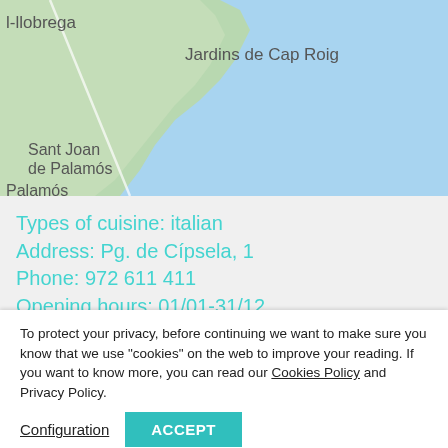[Figure (map): Google Maps view showing coastal area with place names: l-llobrega, Jardins de Cap Roig, Sant Joan de Palamós, Palamós. Land shown in green, sea in light blue.]
Types of cuisine: italian
Address: Pg. de Cípsela, 1
Phone: 972 611 411
Opening hours: 01/01-31/12
To protect your privacy, before continuing we want to make sure you know that we use "cookies" on the web to improve your reading. If you want to know more, you can read our Cookies Policy and Privacy Policy.
Configuration
ACCEPT